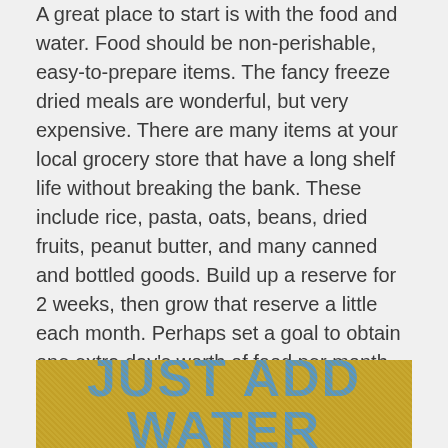A great place to start is with the food and water. Food should be non-perishable, easy-to-prepare items. The fancy freeze dried meals are wonderful, but very expensive. There are many items at your local grocery store that have a long shelf life without breaking the bank. These include rice, pasta, oats, beans, dried fruits, peanut butter, and many canned and bottled goods. Build up a reserve for 2 weeks, then grow that reserve a little each month. Perhaps set a goal to obtain one extra day's worth of food per month, in a few years you will have a full months supply of food and growing!
[Figure (illustration): Yellow/golden textured background banner with bold blue text reading 'JUST ADD WATER']